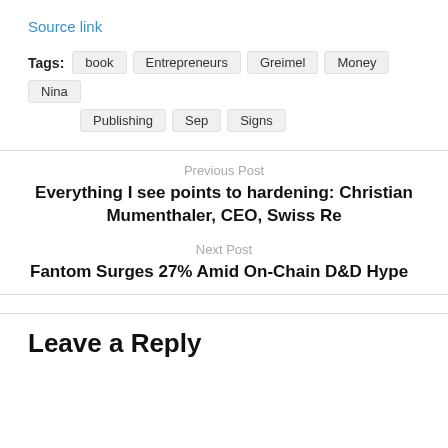Source link
Tags: book Entrepreneurs Greimel Money Nina Publishing Sep Signs
Previous Post
Everything I see points to hardening: Christian Mumenthaler, CEO, Swiss Re
Next Post
Fantom Surges 27% Amid On-Chain D&D Hype
Leave a Reply